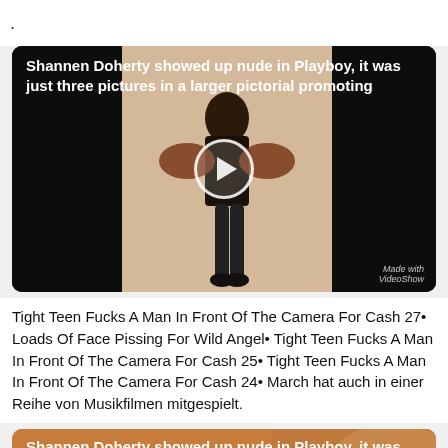.
[Figure (screenshot): Video thumbnail showing a woman in a black outfit with text overlay: 'Shannen Doherty showed up nude in Playboy, it was just three pictures in a larger pictorial promoting'. A play button is visible in the center. VideoShow watermark at bottom right.]
Tight Teen Fucks A Man In Front Of The Camera For Cash 27• Loads Of Face Pissing For Wild Angel• Tight Teen Fucks A Man In Front Of The Camera For Cash 25• Tight Teen Fucks A Man In Front Of The Camera For Cash 24• March hat auch in einer Reihe von Musikfilmen mitgespielt.
[Figure (screenshot): Bottom card with orange/brown background showing text: 'Shannen Doherty showed up nude in Playboy, it was just three pictures in a larger pictorial promoting']